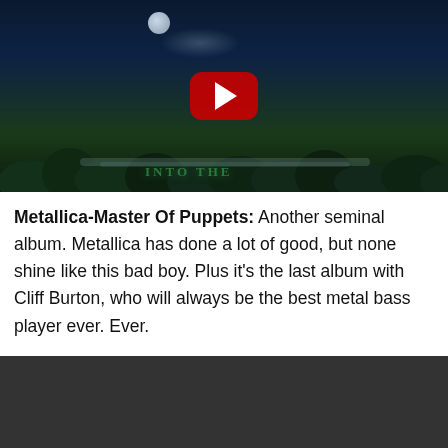[Figure (screenshot): YouTube video embed showing a dark night scene with moon, smoke/mist, green trees, and text 'INTO THE' visible at the bottom. A red YouTube play button is centered on the image.]
Metallica-Master Of Puppets: Another seminal album. Metallica has done a lot of good, but none shine like this bad boy. Plus it’s the last album with Cliff Burton, who will always be the best metal bass player ever. Ever.
[Figure (screenshot): Dark gray/black video thumbnail area at the bottom of the page.]